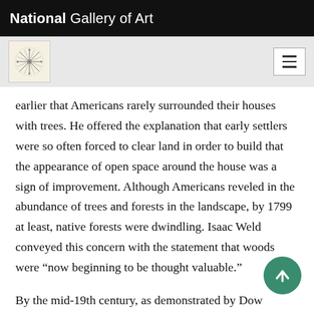National Gallery of Art
[Figure (logo): National Gallery of Art decorative logo icon on gray navigation bar]
earlier that Americans rarely surrounded their houses with trees. He offered the explanation that early settlers were so often forced to clear land in order to build that the appearance of open space around the house was a sign of improvement. Although Americans reveled in the abundance of trees and forests in the landscape, by 1799 at least, native forests were dwindling. Isaac Weld conveyed this concern with the statement that woods were “now beginning to be thought valuable.”
By the mid-19th century, as demonstrated by Dow treatise as well as by accounts of such estates as T country residence in Brookline, Massachusetts, the